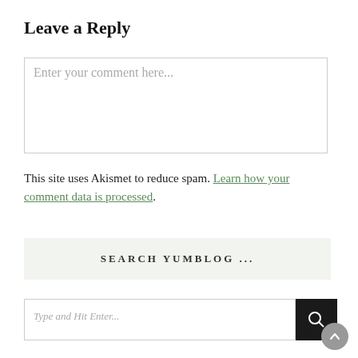Leave a Reply
[Figure (screenshot): Comment text area input box with placeholder text 'Enter your comment here...']
This site uses Akismet to reduce spam. Learn how your comment data is processed.
SEARCH YUMBLOG ...
[Figure (screenshot): Search input field with placeholder 'Type and Hit Enter...' and a dark search button with magnifying glass icon, plus a scroll-up button]